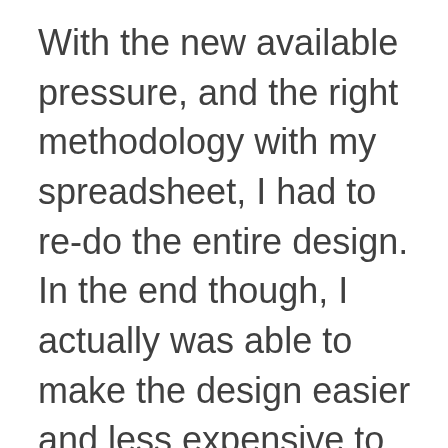With the new available pressure, and the right methodology with my spreadsheet, I had to re-do the entire design. In the end though, I actually was able to make the design easier and less expensive to install. The key was to make the k-factors similar. If you don't understand what I'm talking about, then maybe you shouldn't be designing a residential fire sprinkler